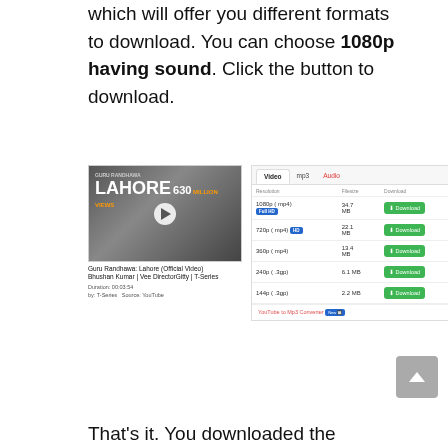which will offer you different formats to download. You can choose 1080p having sound. Click the button to download.
[Figure (screenshot): Screenshot of a video download interface showing a YouTube video thumbnail for 'Guru Randhawa: Lahore (Official Video)' with download options table listing 1080p (mp4) 34.7MB, 720p (mp4) 22.1MB, 360p (mp4) 13.4MB, 240p (3gp) 6.1MB, 144p (3gp) 2.2MB, all with green Download buttons. Tabs: Video, mp3, Audio.]
That's it. You downloaded the